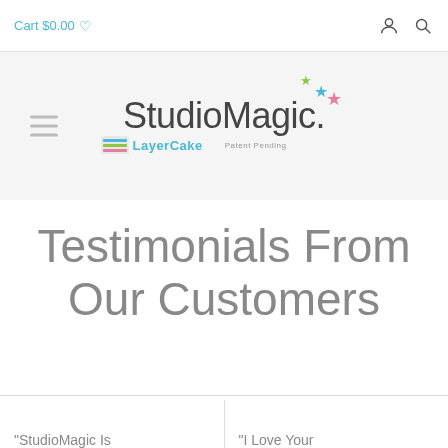Cart $0.00
[Figure (logo): StudioMagic by LayerCake logo with colorful stars, 'Patent Pending' text]
Testimonials From Our Customers
"StudioMagic Is
"I Love Your